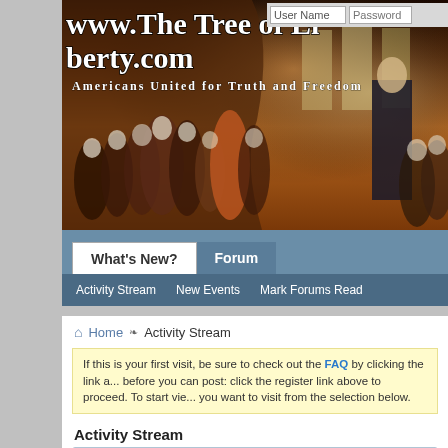[Figure (screenshot): Website banner for www.The Tree of Liberty.com with painting of American founding fathers signing the Constitution. Subtitle reads 'Americans United for Truth and Freedom'. Login fields for User Name and Password visible in top right.]
What's New?  Forum
Activity Stream  New Events  Mark Forums Read
Home › Activity Stream
If this is your first visit, be sure to check out the FAQ by clicking the link above. You may have to register before you can post: click the register link above to proceed. To start viewing messages, select the forum that you want to visit from the selection below.
Activity Stream
Idaho Bullwinkle replied to a thread Joe Biden ha...